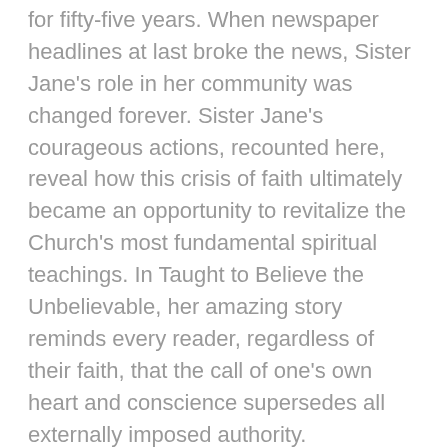for fifty-five years. When newspaper headlines at last broke the news, Sister Jane's role in her community was changed forever. Sister Jane's courageous actions, recounted here, reveal how this crisis of faith ultimately became an opportunity to revitalize the Church's most fundamental spiritual teachings. In Taught to Believe the Unbelievable, her amazing story reminds every reader, regardless of their faith, that the call of one's own heart and conscience supersedes all externally imposed authority.
Unbelievable
2014-03-21   Religion